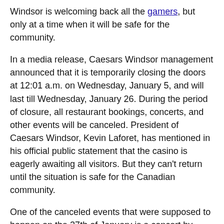Windsor is welcoming back all the gamers, but only at a time when it will be safe for the community.
In a media release, Caesars Windsor management announced that it is temporarily closing the doors at 12:01 a.m. on Wednesday, January 5, and will last till Wednesday, January 26. During the period of closure, all restaurant bookings, concerts, and other events will be canceled. President of Caesars Windsor, Kevin Laforet, has mentioned in his official public statement that the casino is eagerly awaiting all visitors. But they can't return until the situation is safe for the Canadian community.
One of the canceled events that were supposed to happen on the 27th of January is a concert by legendary Alice Cooper. Caesars Windsor said that all refunds for the tickets are going to be handled through the original point of purchase. The Live to Rock performance, which was originally scheduled for the twenty of January, will be postponed until summer. At least, all the tickets for the January performance are going to be valid for the new date.
The casino resort is forcing all the guests of the hotel to check out by Tuesday noon. All future hotel bookings can not be accepted until further notice by the government